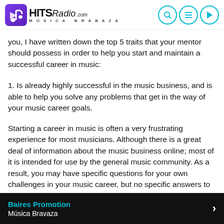[Figure (logo): HITS Radio Música Bravaza logo with purple music note icon and navigation icons (search, menu, play)]
you, I have written down the top 5 traits that your mentor should possess in order to help you start and maintain a successful career in music:
1. Is already highly successful in the music business, and is able to help you solve any problems that get in the way of your music career goals.
Starting a career in music is often a very frustrating experience for most musicians. Although there is a great deal of information about the music business online; most of it is intended for use by the general music community. As a result, you may have specific questions for your own challenges in your music career, but no specific answers to help you deal with them. On top of that, the music industry information you find online does not help you understand the difference between
Baires Promotion
Música Bravaza